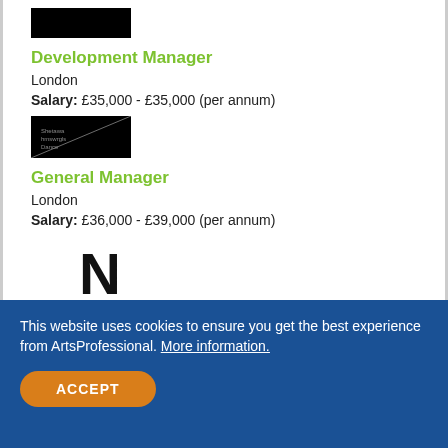[Figure (logo): Black rectangular logo (partially visible/redacted)]
Development Manager
London
Salary: £35,000 - £35,000 (per annum)
[Figure (logo): Black logo with text 'Shetawa hmswrgls Dance' and diagonal line]
General Manager
London
Salary: £36,000 - £39,000 (per annum)
[Figure (logo): Northern Stage logo with large N and text NORTHERN STAGE]
This website uses cookies to ensure you get the best experience from ArtsProfessional. More information.
ACCEPT